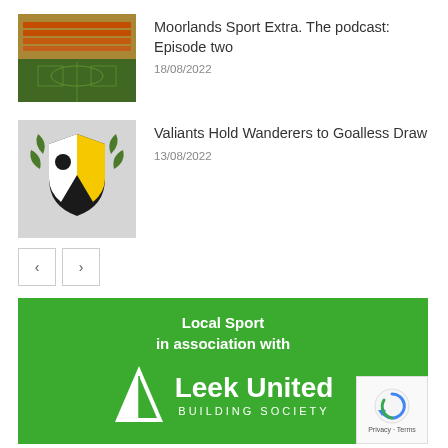[Figure (photo): Thumbnail photo of a football stadium with orange seats and green pitch]
Moorlands Sport Extra. The podcast: Episode two
18/08/2022
[Figure (logo): Football club badge/crest logo on grey background]
Valiants Hold Wanderers to Goalless Draw
13/08/2022
[Figure (illustration): Pagination previous and next arrow buttons]
[Figure (logo): Leek United Building Society sponsor banner - green background with white text and logo triangle]